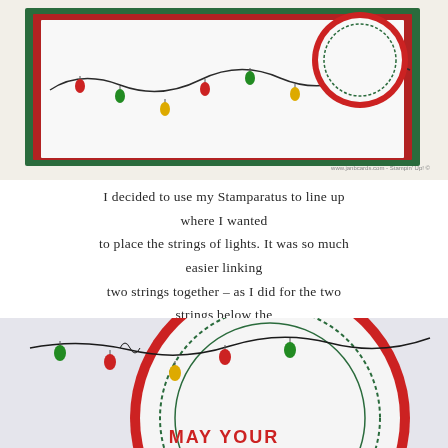[Figure (photo): Christmas card with green and red border, strings of colorful Christmas lights stamped on white card stock, with a circular scalloped element and ribbon. Watermark: www.janbcards.com - Stampin' Up! ©]
I decided to use my Stamparatus to line up where I wanted to place the strings of lights. It was so much easier linking two strings together – as I did for the two strings below the ribbon – because I didn't have my hands obstructing my view!
[Figure (photo): Close-up of a circular scalloped Christmas card element with colorful string lights, red scalloped border, stitched inner circle with star details, and partial red text reading 'MAY YOUR']